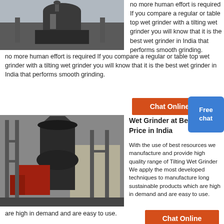[Figure (photo): Industrial grinding machine in a factory setting, viewed from above]
no more human effort is required If you compare a regular or table top wet grinder with a tilting wet grinder you will know that it is the best wet grinder in India that performs smooth grinding.
[Figure (other): Orange Chat Online button with a person illustration]
[Figure (other): Blue Free chat bubble]
[Figure (photo): Large industrial vertical mill/grinder inside a factory building]
Wet Grinder at Best Price in India
With the use of best resources we manufacture and provide high quality range of Tilting Wet Grinder We apply the most developed techniques to manufacture long sustainable products which are high in demand and are easy to use.
[Figure (other): Orange Chat Online button at bottom]